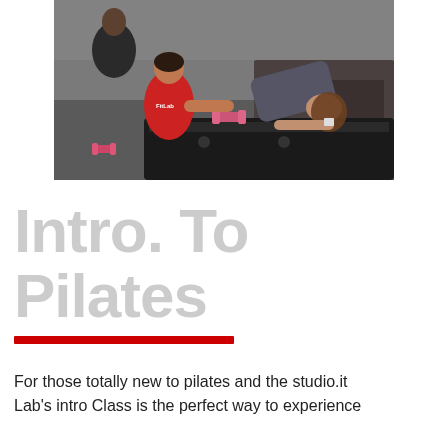[Figure (photo): Two people in a Pilates studio: a woman in a red FitLab shirt coaching/spotting another woman who is bent over a black Pilates reformer machine. Pink dumbbells visible on the reformer. Dark gym equipment in the background.]
Intro. To Pilates
For those totally new to pilates and the studio.it Lab's intro Class is the perfect way to experience